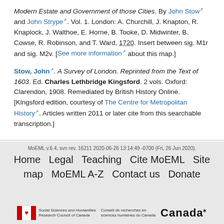Modern Estate and Government of those Cities. By John Stow and John Strype. Vol. 1. London: A. Churchill, J. Knapton, R. Knaplock, J. Walthoe, E. Horne, B. Tooke, D. Midwinter, B. Cowse, R. Robinson, and T. Ward, 1720. Insert between sig. M1r and sig. M2v. [See more information about this map.]
Stow, John. A Survey of London. Reprinted from the Text of 1603. Ed. Charles Lethbridge Kingsford. 2 vols. Oxford: Clarendon, 1908. Remediated by British History Online. [Kingsford edition, courtesy of The Centre for Metropolitan History. Articles written 2011 or later cite from this searchable transcription.]
MoEML v.6.4, svn rev. 16211 2020-06-26 13:14:49 -0700 (Fri, 26 Jun 2020). Home Legal Teaching Cite MoEML Site map MoEML A-Z Contact us Donate